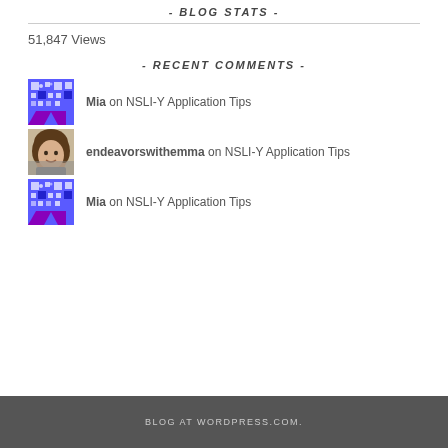- BLOG STATS -
51,847 Views
- RECENT COMMENTS -
Mia on NSLI-Y Application Tips
endeavorswithemma on NSLI-Y Application Tips
Mia on NSLI-Y Application Tips
BLOG AT WORDPRESS.COM.